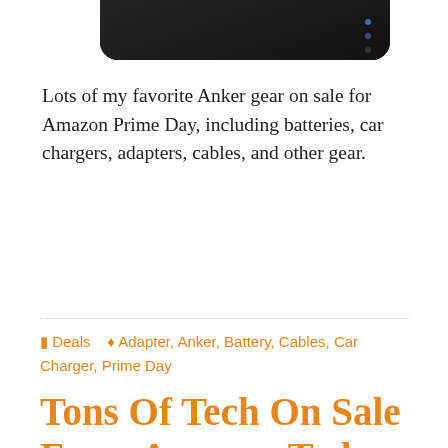[Figure (photo): Partial view of a black Anker product (battery/charger) on white background, cropped at top of page]
Lots of my favorite Anker gear on sale for Amazon Prime Day, including batteries, car chargers, adapters, cables, and other gear.
Deals  Adapter, Anker, Battery, Cables, Car Charger, Prime Day
Tons Of Tech On Sale From Amazon Today
December 12, 2016   By Edward Pizzarello   0 Comments